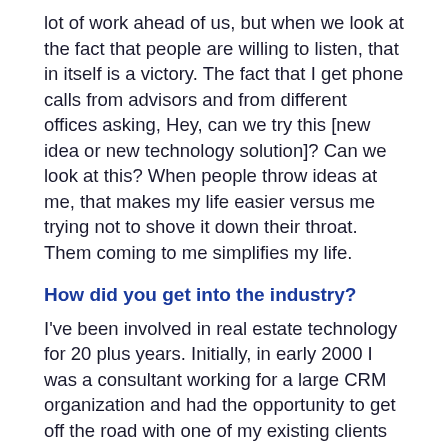lot of work ahead of us, but when we look at the fact that people are willing to listen, that in itself is a victory. The fact that I get phone calls from advisors and from different offices asking, Hey, can we try this [new idea or new technology solution]? Can we look at this? When people throw ideas at me, that makes my life easier versus me trying not to shove it down their throat. Them coming to me simplifies my life.
How did you get into the industry?
I've been involved in real estate technology for 20 plus years. Initially, in early 2000 I was a consultant working for a large CRM organization and had the opportunity to get off the road with one of my existing clients at the time, Equity Office Properties. Ever since then, once I joined, it actually became an interest of mine, so I've stayed within the real estate sector for 20 plus years.
What are some challenges you have encountered during your career and how did you overcome them?